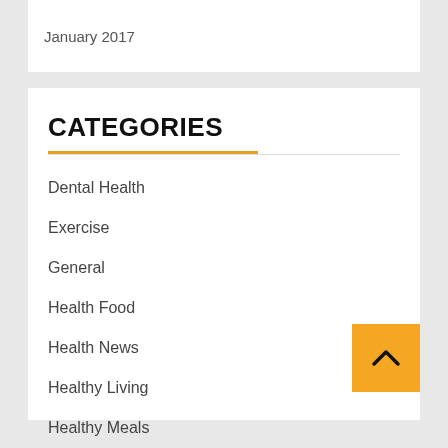January 2017
CATEGORIES
Dental Health
Exercise
General
Health Food
Health News
Healthy Living
Healthy Meals
Vitamins